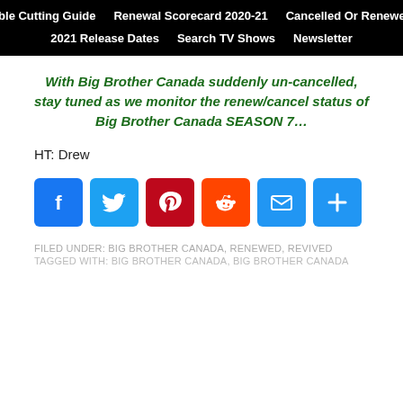Cable Cutting Guide | Renewal Scorecard 2020-21 | Cancelled Or Renewed? | 2021 Release Dates | Search TV Shows | Newsletter
With Big Brother Canada suddenly un-cancelled, stay tuned as we monitor the renew/cancel status of Big Brother Canada SEASON 7…
HT: Drew
[Figure (infographic): Social share buttons: Facebook, Twitter, Pinterest, Reddit, Email, Share (plus)]
FILED UNDER: BIG BROTHER CANADA, RENEWED, REVIVED
TAGGED WITH: BIG BROTHER CANADA, BIG BROTHER CANADA